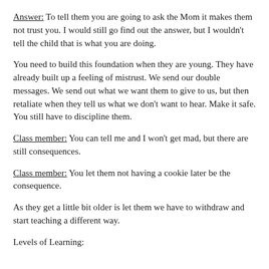Answer: To tell them you are going to ask the Mom it makes them not trust you. I would still go find out the answer, but I wouldn't tell the child that is what you are doing.
You need to build this foundation when they are young. They have already built up a feeling of mistrust. We send our double messages. We send out what we want them to give to us, but then retaliate when they tell us what we don't want to hear. Make it safe. You still have to discipline them.
Class member: You can tell me and I won't get mad, but there are still consequences.
Class member: You let them not having a cookie later be the consequence.
As they get a little bit older is let them we have to withdraw and start teaching a different way.
Levels of Learning: